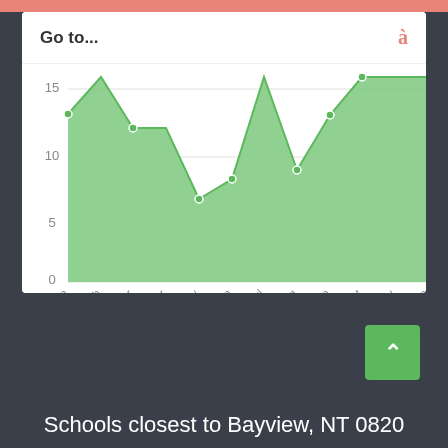Go to...
[Figure (area-chart): Monthly values]
Schools closest to Bayview, NT 0820